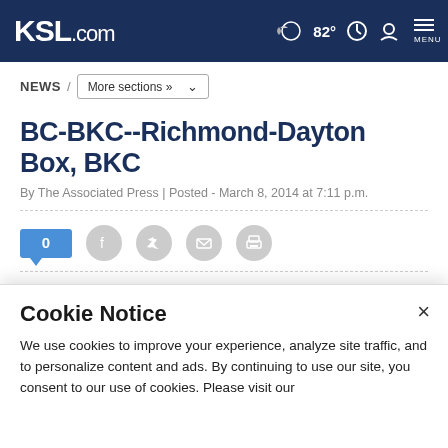KSL.com — 82° MENU
NEWS / More sections »
BC-BKC--Richmond-Dayton Box, BKC
By The Associated Press | Posted - March 8, 2014 at 7:11 p.m.
0 [social share icons: Facebook, Twitter, Email, Print]
Estimated read time: Less than a minute
Cookie Notice
We use cookies to improve your experience, analyze site traffic, and to personalize content and ads. By continuing to use our site, you consent to our use of cookies. Please visit our